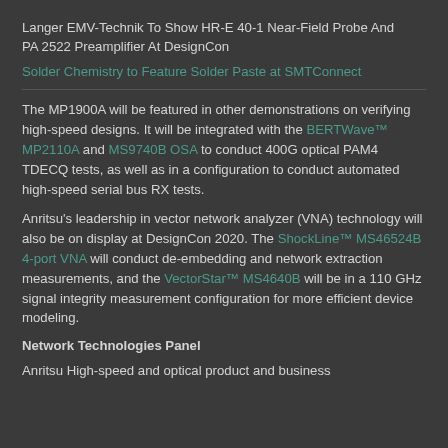Langer EMV-Technik To Show HR-E 40-1 Near-Field Probe And PA 2522 Preamplifier At DesignCon
Solder Chemistry to Feature Solder Paste at SMTConnect
The MP1900A will be featured in other demonstrations on verifying high-speed designs. It will be integrated with the BERTWave™ MP2110A and MS9740B OSA to conduct 400G optical PAM4 TDECQ tests, as well as in a configuration to conduct automated high-speed serial bus RX tests.
Anritsu's leadership in vector network analyzer (VNA) technology will also be on display at DesignCon 2020. The ShockLine™ MS46524B 4-port VNA will conduct de-embedding and network extraction measurements, and the VectorStar™ MS4640B will be in a 110 GHz signal integrity measurement configuration for more efficient device modeling.
Network Technologies Panel
Anritsu High-speed and optical product and business